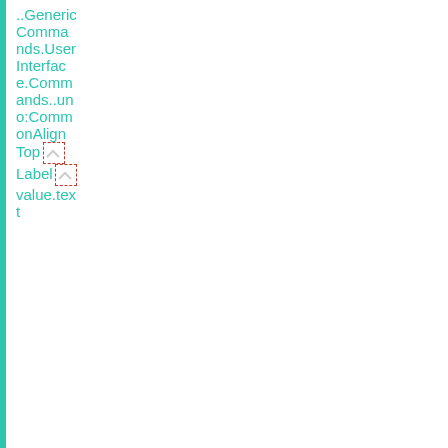| ..GenericCommands.UserInterface.Commands..uno:CommonAlignTop[icon]Label[icon]value.text |  |  |
| GenericCommands.xcu[icon]..GenericCommands Comma... | Center | Na postrzodku |